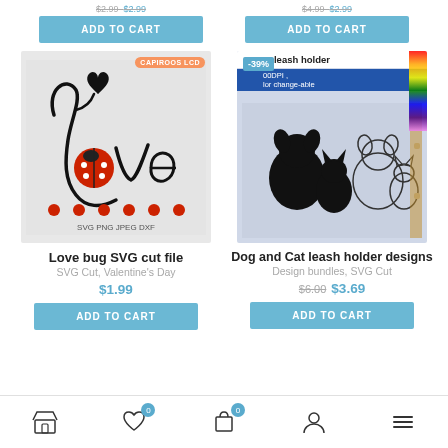[Figure (screenshot): Two ADD TO CART buttons at top of page]
[Figure (photo): Love bug SVG cut file product image showing cursive 'love' with ladybug as the 'o' and a heart, on grey background, with 'SVG PNG JPEG DXF' text at bottom]
[Figure (photo): Dog and Cat leash holder designs product image showing silhouettes of a dog and cat, with discount badge -39%]
Love bug SVG cut file
SVG Cut, Valentine's Day
$1.99
Dog and Cat leash holder designs
Design bundles, SVG Cut
$6.00 $3.69
ADD TO CART
ADD TO CART
Store | Wishlist 0 | Cart 0 | Account | Menu